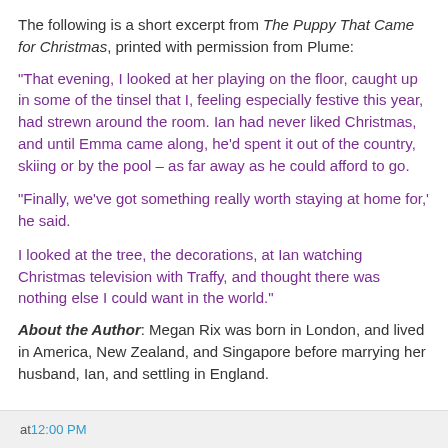The following is a short excerpt from The Puppy That Came for Christmas, printed with permission from Plume:
“That evening, I looked at her playing on the floor, caught up in some of the tinsel that I, feeling especially festive this year, had strewn around the room. Ian had never liked Christmas, and until Emma came along, he’d spent it out of the country, skiing or by the pool – as far away as he could afford to go.
"Finally, we’ve got something really worth staying at home for,’ he said.
I looked at the tree, the decorations, at Ian watching Christmas television with Traffy, and thought there was nothing else I could want in the world.”
About the Author: Megan Rix was born in London, and lived in America, New Zealand, and Singapore before marrying her husband, Ian, and settling in England.
at 12:00 PM